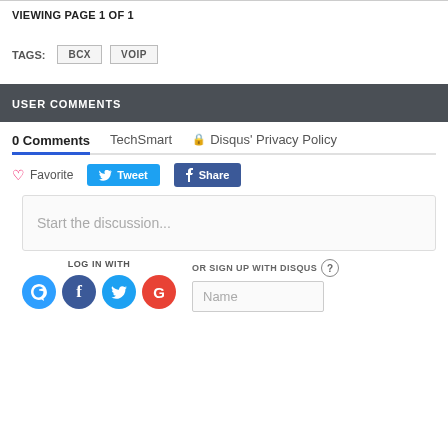VIEWING PAGE 1 OF 1
TAGS: BCX VOIP
USER COMMENTS
0 Comments  TechSmart  🔒 Disqus' Privacy Policy
♡ Favorite  Tweet  Share
Start the discussion...
LOG IN WITH
OR SIGN UP WITH DISQUS ?
Name